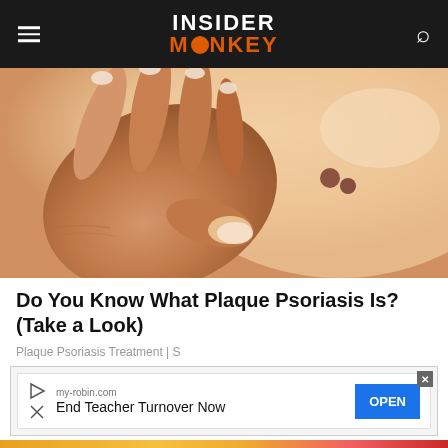INSIDER MONKEY
[Figure (photo): Close-up photo of a hand touching skin with visible skin lesions/moles, suggesting plaque psoriasis]
Do You Know What Plaque Psoriasis Is? (Take a Look)
Plaque Psoriasis Treatment | S
[Figure (screenshot): Advertisement popup: my-robin.com - End Teacher Turnover Now - OPEN button]